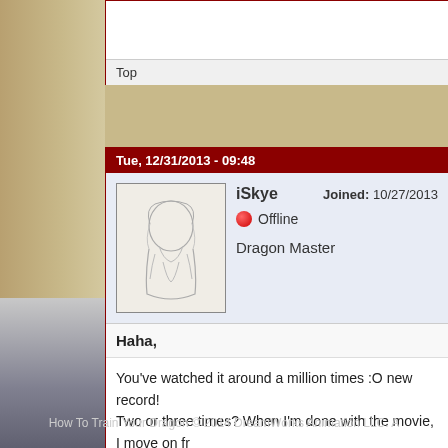Top
Tue, 12/31/2013 - 09:48
iSkye   Joined: 10/27/2013
Offline
Dragon Master
Haha,
You've watched it around a million times :O new record!
Two or three times? When I'm done with the movie, I move on fr
Top
Login or register to post comments
How To Train Your Dragon © 2014 DreamWorks Animation LLC. A